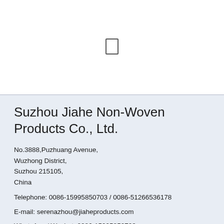[Figure (other): Small rectangle icon (document/file symbol) centered in white top area]
Suzhou Jiahe Non-Woven Products Co., Ltd.
No.3888,Puzhuang Avenue,
Wuzhong District,
Suzhou 215105,
China
Telephone: 0086-15995850703 / 0086-51266536178
E-mail: serenazhou@jiaheproducts.com
WhatsApp / Wechat: 0086-15995850703
Skype: 0086-15995850703